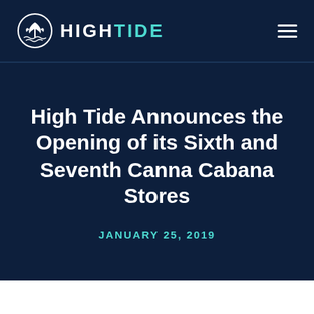[Figure (logo): High Tide logo with cannabis leaf icon and company name in white text on dark navy background, with hamburger menu icon on the right]
High Tide Announces the Opening of its Sixth and Seventh Canna Cabana Stores
JANUARY 25, 2019